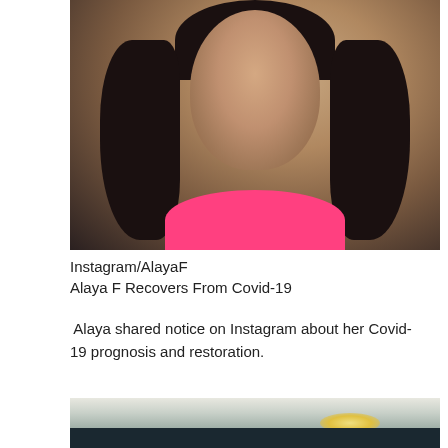[Figure (photo): Portrait photo of Alaya F, a young woman with long dark wavy hair, dramatic eye makeup, gold hoop earrings, wearing a pink top, posing against a warm textured background]
Instagram/AlayaF
Alaya F Recovers From Covid-19
Alaya shared notice on Instagram about her Covid-19 prognosis and restoration.
[Figure (photo): Landscape/cityscape photo with dramatic cloudy sky and a city or castle silhouette visible at the bottom with a warm glow on the horizon]